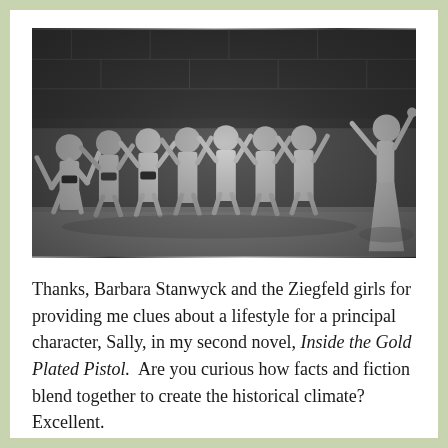[Figure (photo): A black-and-white vintage photograph of Barbara Stanwyck and the Ziegfeld girls dancing on stage, with their arms raised and posing in various dance positions.]
Thanks, Barbara Stanwyck and the Ziegfeld girls for providing me clues about a lifestyle for a principal character, Sally, in my second novel, Inside the Gold Plated Pistol.  Are you curious how facts and fiction blend together to create the historical climate? Excellent.